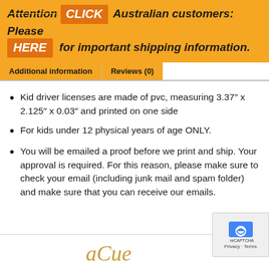[Figure (infographic): Orange banner with bold italic text: Attention Australian customers: Please CLICK HERE for important shipping information. 'CLICK' and 'HERE' appear in darker orange pill/box shapes.]
Additional information | Reviews (0)
Kid driver licenses are made of pvc, measuring 3.37″ x 2.125″ x 0.03″ and printed on one side
For kids under 12 physical years of age ONLY.
You will be emailed a proof before we print and ship. Your approval is required. For this reason, please make sure to check your email (including junk mail and spam folder) and make sure that you can receive our emails.
[Figure (logo): Decorative cursive logo or signature at the bottom center of the page]